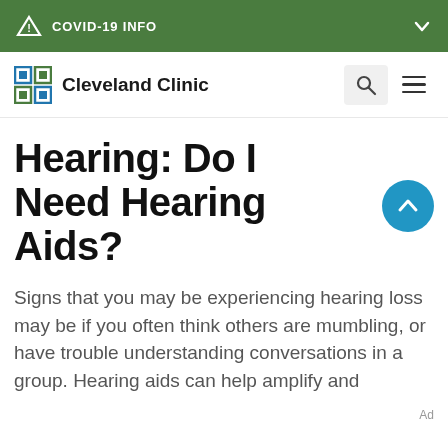COVID-19 INFO
[Figure (logo): Cleveland Clinic logo with navigation icons (search and menu)]
Hearing: Do I Need Hearing Aids?
Signs that you may be experiencing hearing loss may be if you often think others are mumbling, or have trouble understanding conversations in a group. Hearing aids can help amplify and
Ad